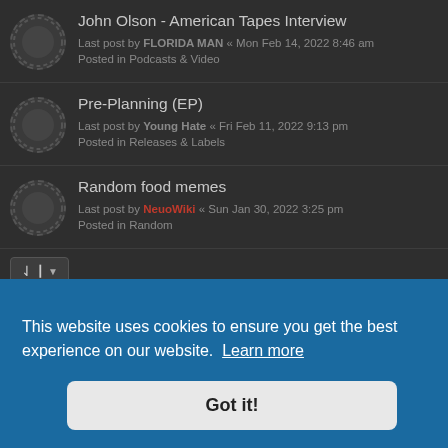John Olson - American Tapes Interview
Last post by FLORIDA MAN « Mon Feb 14, 2022 8:46 am
Posted in Podcasts & Video
Pre-Planning (EP)
Last post by Young Hate « Fri Feb 11, 2022 9:13 pm
Posted in Releases & Labels
Random food memes
Last post by NeuoWiki « Sun Jan 30, 2022 3:25 pm
Posted in Random
Search found 144 matches  1 2 3 4 5 6 >
This website uses cookies to ensure you get the best experience on our website. Learn more
Got it!